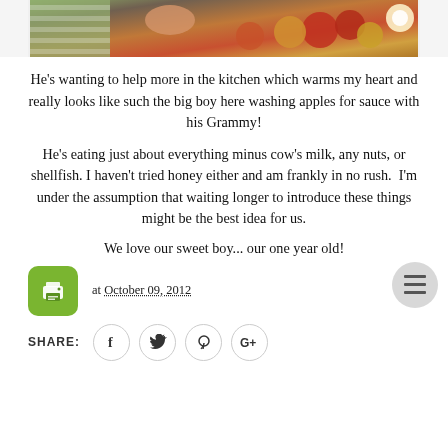[Figure (photo): Child reaching into a box of fruits including apples, with a striped shirt visible, warm kitchen scene]
He's wanting to help more in the kitchen which warms my heart and really looks like such the big boy here washing apples for sauce with his Grammy!
He's eating just about everything minus cow's milk, any nuts, or shellfish. I haven't tried honey either and am frankly in no rush.  I'm under the assumption that waiting longer to introduce these things might be the best idea for us.
We love our sweet boy... our one year old!
at October 09, 2012
SHARE: